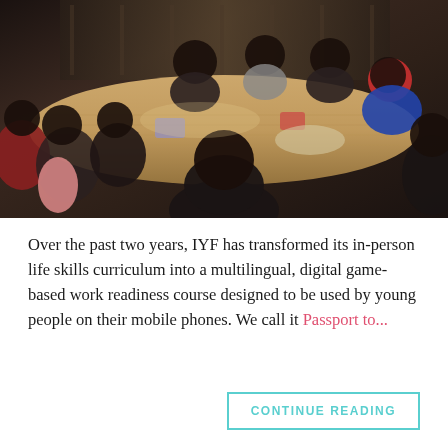[Figure (photo): Group of young people sitting around a large wooden table in a meeting or workshop setting, engaged in discussion. Several participants are visible from various angles.]
Over the past two years, IYF has transformed its in-person life skills curriculum into a multilingual, digital game-based work readiness course designed to be used by young people on their mobile phones. We call it Passport to...
CONTINUE READING